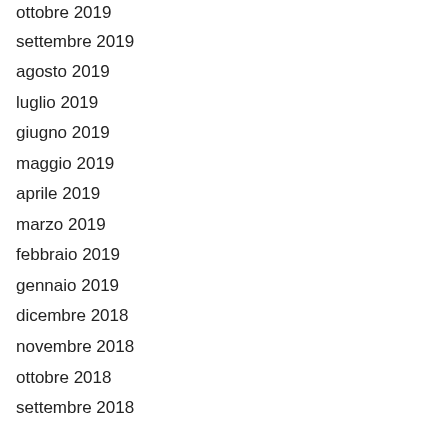ottobre 2019
settembre 2019
agosto 2019
luglio 2019
giugno 2019
maggio 2019
aprile 2019
marzo 2019
febbraio 2019
gennaio 2019
dicembre 2018
novembre 2018
ottobre 2018
settembre 2018